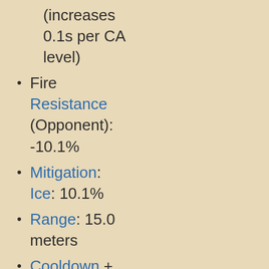(increases 0.1s per CA level)
Fire Resistance (Opponent): -10.1%
Mitigation: Ice: 10.1%
Range: 15.0 meters
Cooldown + Regeneration Time: 15.0s